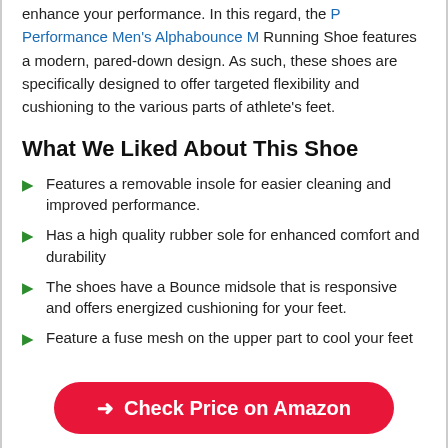enhance your performance. In this regard, the P Performance Men's Alphabounce M Running Shoe features a modern, pared-down design. As such, these shoes are specifically designed to offer targeted flexibility and cushioning to the various parts of athlete's feet.
What We Liked About This Shoe
Features a removable insole for easier cleaning and improved performance.
Has a high quality rubber sole for enhanced comfort and durability
The shoes have a Bounce midsole that is responsive and offers energized cushioning for your feet.
Feature a fuse mesh on the upper part to cool your feet
Check Price on Amazon